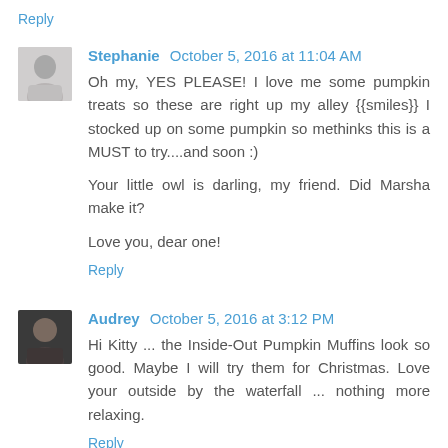Reply
Stephanie  October 5, 2016 at 11:04 AM
Oh my, YES PLEASE! I love me some pumpkin treats so these are right up my alley {{smiles}} I stocked up on some pumpkin so methinks this is a MUST to try....and soon :)

Your little owl is darling, my friend. Did Marsha make it?

Love you, dear one!
Reply
Audrey  October 5, 2016 at 3:12 PM
Hi Kitty ... the Inside-Out Pumpkin Muffins look so good. Maybe I will try them for Christmas. Love your outside by the waterfall ... nothing more relaxing.
Reply